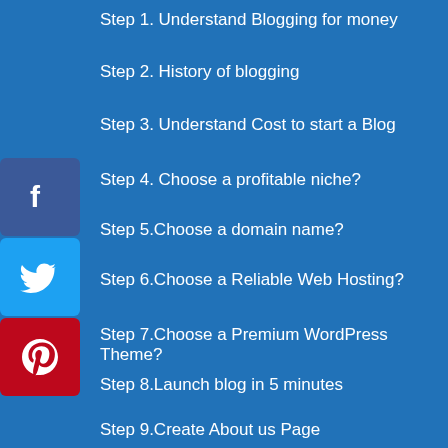Step 1. Understand Blogging for money
Step 2. History of blogging
Step 3. Understand Cost to start a Blog
Step 4. Choose a profitable niche?
Step 5.Choose a domain name?
Step 6.Choose a Reliable Web Hosting?
Step 7.Choose a Premium WordPress Theme?
Step 8.Launch blog in 5 minutes
Step 9.Create About us Page